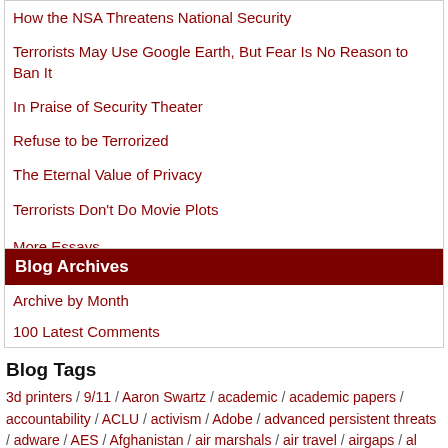How the NSA Threatens National Security
Terrorists May Use Google Earth, But Fear Is No Reason to Ban It
In Praise of Security Theater
Refuse to be Terrorized
The Eternal Value of Privacy
Terrorists Don't Do Movie Plots
More Essays
Blog Archives
Archive by Month
100 Latest Comments
Blog Tags
3d printers / 9/11 / Aaron Swartz / academic / academic papers / accountability / ACLU / activism / Adobe / advanced persistent threats / adware / AES / Afghanistan / air marshals / air travel / airgaps / al Qaeda / alarms / algorithms / alibis / Amazon / Android / anonymity / Anonymous / antivirus /